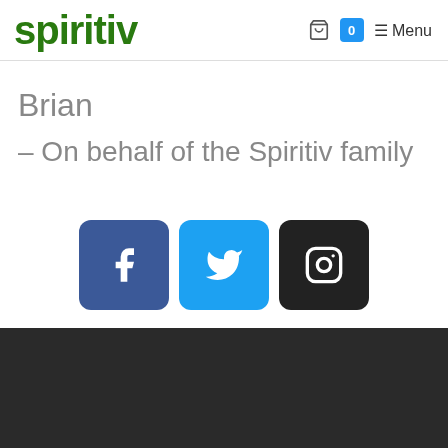[Figure (logo): Spiritiv logo in dark green bold text]
Brian
– On behalf of the Spiritiv family
[Figure (infographic): Social media icons: Facebook (blue), Twitter (light blue), Instagram (dark/black)]
Dark footer bar with back-to-top button